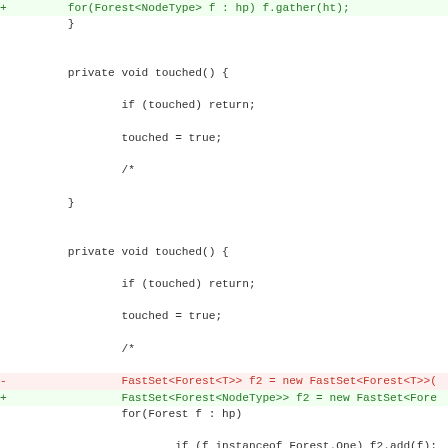[Figure (screenshot): Code diff showing changes to Java source code with added (green) and removed (red) lines, and a hunk header (magenta). The diff shows modifications to Forest/NodeType related Java code including private void touched() methods and FastSet declarations.]